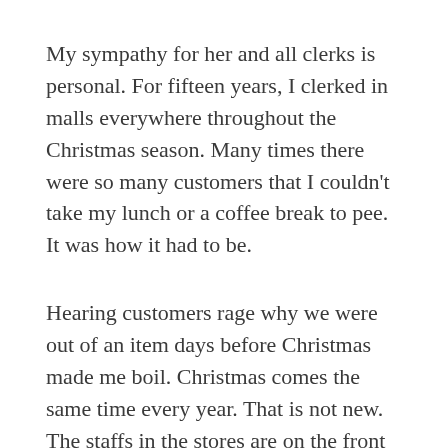My sympathy for her and all clerks is personal. For fifteen years, I clerked in malls everywhere throughout the Christmas season. Many times there were so many customers that I couldn't take my lunch or a coffee break to pee. It was how it had to be.
Hearing customers rage why we were out of an item days before Christmas made me boil. Christmas comes the same time every year. That is not new. The staffs in the stores are on the front lines. The supply and demand in retail is very tricky. That is up to the corporate headquarters and the buyers. It is not the clerks, whom make (in most cases) minimum wage.